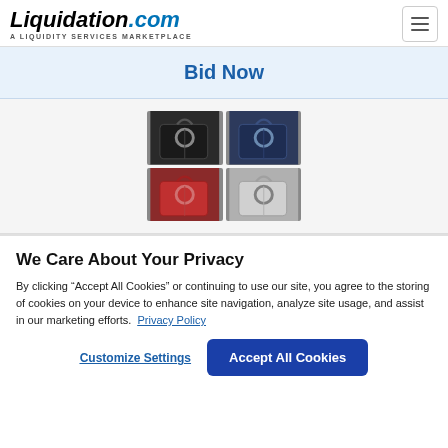Liquidation.com - A LIQUIDITY SERVICES MARKETPLACE
Bid Now
[Figure (photo): Four small handbags in a 2x2 grid: black, blue (top row), red/pink, silver/grey (bottom row). Each bag has a circular handle and crossbody strap.]
We Care About Your Privacy
By clicking “Accept All Cookies” or continuing to use our site, you agree to the storing of cookies on your device to enhance site navigation, analyze site usage, and assist in our marketing efforts. Privacy Policy
Customize Settings
Accept All Cookies